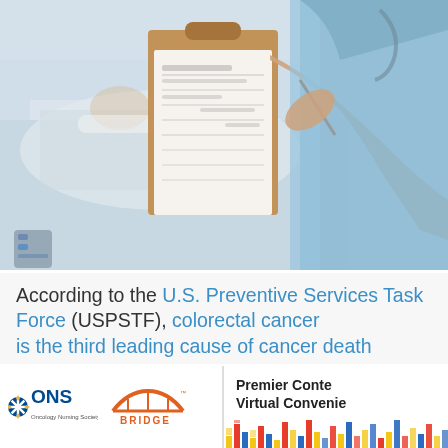[Figure (photo): Nurse in blue scrubs writing on a clipboard with a patient lying in a hospital bed in the background, blurred]
According to the U.S. Preventive Services Task Force (USPSTF), colorectal cancer is the third leading cause of cancer death
[Figure (logo): ONS Oncology Nursing Society logo and Bridge logo side by side]
Premier Conte Virtual Convenie